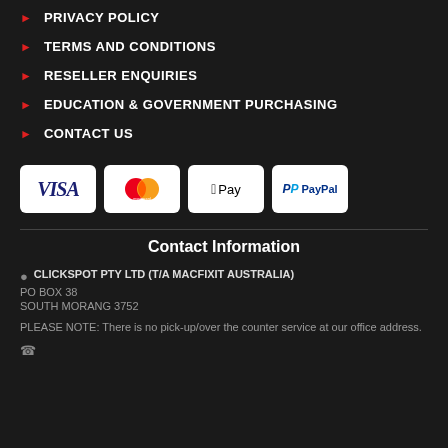PRIVACY POLICY
TERMS AND CONDITIONS
RESELLER ENQUIRIES
EDUCATION & GOVERNMENT PURCHASING
CONTACT US
[Figure (other): Payment method logos: VISA, Mastercard, Apple Pay, PayPal]
Contact Information
CLICKSPOT PTY LTD (T/A MACFIXIT AUSTRALIA)
PO BOX 38
SOUTH MORANG 3752
PLEASE NOTE: There is no pick-up/over the counter service at our office address.